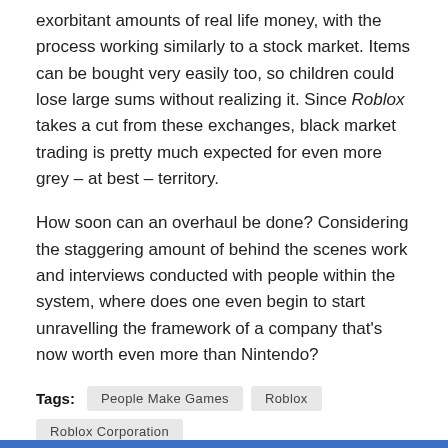exorbitant amounts of real life money, with the process working similarly to a stock market. Items can be bought very easily too, so children could lose large sums without realizing it. Since Roblox takes a cut from these exchanges, black market trading is pretty much expected for even more grey – at best – territory.
How soon can an overhaul be done? Considering the staggering amount of behind the scenes work and interviews conducted with people within the system, where does one even begin to start unravelling the framework of a company that's now worth even more than Nintendo?
Tags: People Make Games  Roblox  Roblox Corporation
[Figure (other): Four social share buttons: Facebook (dark blue), Twitter (light blue), Telegram (medium blue), WhatsApp (dark teal)]